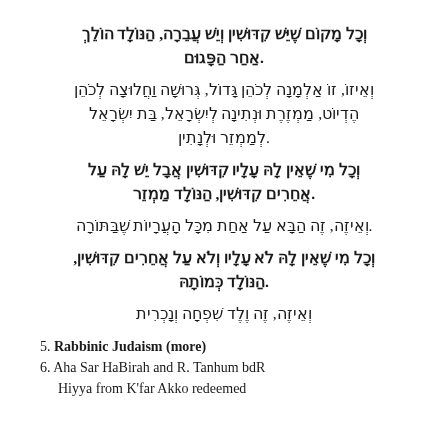וְכָל מָקוֹם שֶׁיֵּשׁ קִדּוּשִׁין וְיֵשׁ עֲבֵרָה, הַנּוֹלָד הוֹלֵךְ אַחַר הַפָּגוּם.
וְאֵיזוֹ, זוֹ אַלְמָנָה לְכֹהֵן גָּדוֹל, גְּרוּשָׁה וַחֲלוּצָה לְכֹהֵן הֶדְיוֹט, מַמְזֶרֶת וּנְתִינָה לְיִשְׂרָאֵל, בַּת יִשְׂרָאֵל לְמַמְזֵר וּלְנָתִין.
וְכָל מִי שֶׁאֵין לָהּ עָלָיו קִדּוּשִׁין אֲבָל יֵשׁ לָהּ עַל אֲחֵרִים קִדּוּשִׁין, הַנּוֹלָד מַמְזֵר.
וְאֵיזֶה, זֶה הַבָּא עַל אַחַת מִכָּל הָעֲרָיוֹת שֶׁבַּתּוֹרָה.
וְכָל מִי שֶׁאֵין לָהּ לֹא עָלָיו וְלֹא עַל אֲחֵרִים קִדּוּשִׁין, הַנּוֹלָד כְּמוֹתָהּ.
וְאֵיזֶה, זֶה וֶלֶד שִׁפְחָה וְנָכְרִית
5. Rabbinic Judaism (more)
6. Aha Sar HaBirah and R. Tanhum bdR
Hiyya from K'far Akko redeemed